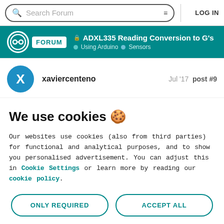Search Forum | LOG IN
ADXL335 Reading Conversion to G's | Using Arduino | Sensors
xaviercenteno  Jul '17  post #9
We use cookies 🍪
Our websites use cookies (also from third parties) for functional and analytical purposes, and to show you personalised advertisement. You can adjust this in Cookie Settings or learn more by reading our cookie policy.
ONLY REQUIRED | ACCEPT ALL